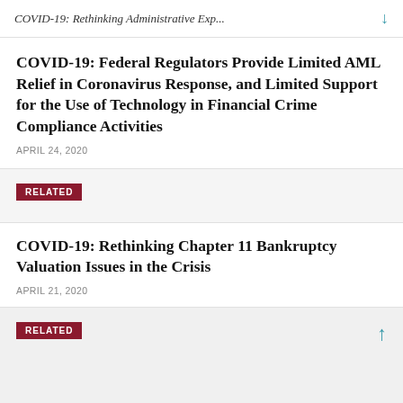COVID-19: Rethinking Administrative Exp...
COVID-19: Federal Regulators Provide Limited AML Relief in Coronavirus Response, and Limited Support for the Use of Technology in Financial Crime Compliance Activities
APRIL 24, 2020
RELATED
COVID-19: Rethinking Chapter 11 Bankruptcy Valuation Issues in the Crisis
APRIL 21, 2020
RELATED